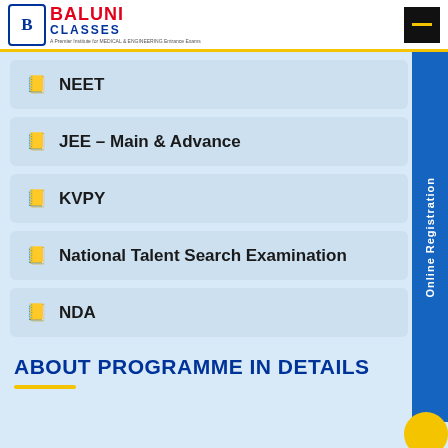[Figure (logo): Baluni Classes logo with a B emblem and red/blue text, tagline about medical and engineering entrance exams]
NEET
JEE – Main & Advance
KVPY
National Talent Search Examination
NDA
ABOUT PROGRAMME IN DETAILS